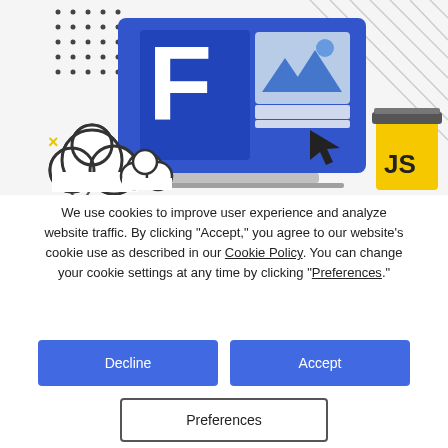[Figure (illustration): Web development illustration showing a laptop with a large blue letter F and an image placeholder icon on screen, clouds, a yellow JavaScript coffee cup, dots, and diagonal lines decorating the background.]
We use cookies to improve user experience and analyze website traffic. By clicking “Accept,” you agree to our website’s cookie use as described in our Cookie Policy. You can change your cookie settings at any time by clicking “Preferences.”
Decline
Accept
Preferences